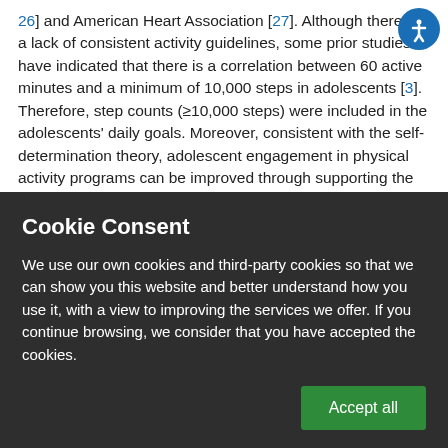26] and American Heart Association [27]. Although there is a lack of consistent activity guidelines, some prior studies have indicated that there is a correlation between 60 active minutes and a minimum of 10,000 steps in adolescents [3]. Therefore, step counts (≥10,000 steps) were included in the adolescents' daily goals. Moreover, consistent with the self-determination theory, adolescent engagement in physical activity programs can be improved through supporting the basic psychological needs of adolescents, including autonomy [28]. Accordingly, the adolescents were given the opportunity to select whether to work toward their active minutes goal or their step goal each day. Adolescents were instructed on
Cookie Consent
We use our own cookies and third-party cookies so that we can show you this website and better understand how you use it, with a view to improving the services we offer. If you continue browsing, we consider that you have accepted the cookies.